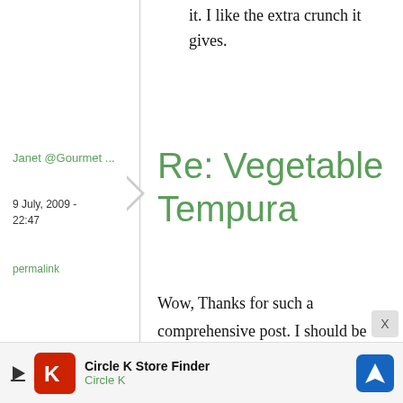it. I like the extra crunch it gives.
Janet @Gourmet ...
9 July, 2009 - 22:47
permalink
Re: Vegetable Tempura
Wow, Thanks for such a comprehensive post. I should be able to master a
[Figure (other): Advertisement banner for Circle K Store Finder with Circle K logo and navigation icon]